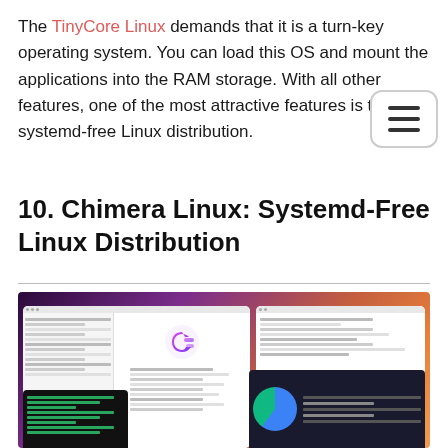The TinyCore Linux demands that it is a turn-key operating system. You can load this OS and mount the applications into the RAM storage. With all other features, one of the most attractive features is that it is a systemd-free Linux distribution.
10. Chimera Linux: Systemd-Free Linux Distribution
[Figure (screenshot): Screenshot of Chimera Linux desktop showing settings panels, terminal window, and disk utility with colorful gradient wallpaper]